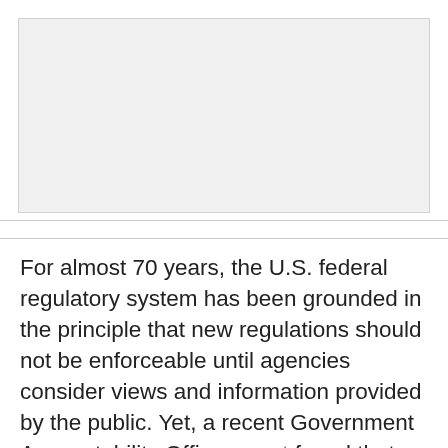[Figure (other): Empty light gray placeholder image box]
For almost 70 years, the U.S. federal regulatory system has been grounded in the principle that new regulations should not be enforceable until agencies consider views and information provided by the public. Yet, a recent Government Accountability Office report found that federal agencies did not go through this “notice-and-comment” process for over one-third of the major rules issued between 2003 and 2010. This means that a